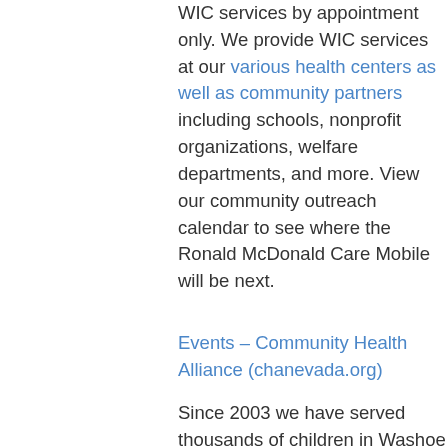WIC services by appointment only. We provide WIC services at our various health centers as well as community partners including schools, nonprofit organizations, welfare departments, and more. View our community outreach calendar to see where the Ronald McDonald Care Mobile will be next.
Events – Community Health Alliance (chanevada.org)
Since 2003 we have served thousands of children in Washoe County with more than 195,000